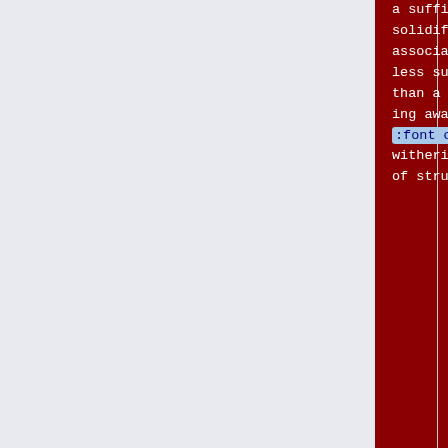a sufficient gain that its solidification can be associated with a more or less sudden collapse rather than a slow [[en|withering away of the state|<font color="red">withering away</font>] ] of structures of the old